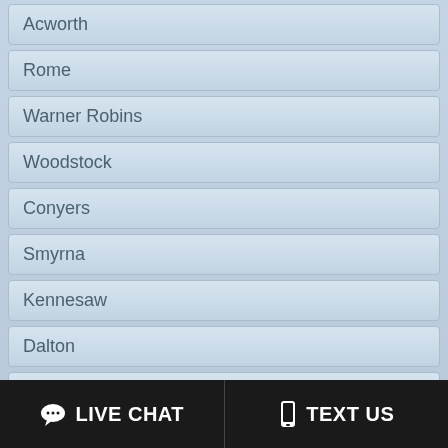Acworth
Rome
Warner Robins
Woodstock
Conyers
Smyrna
Kennesaw
Dalton
Newnan
Griffin
College Park
Riverdale
LIVE CHAT   TEXT US